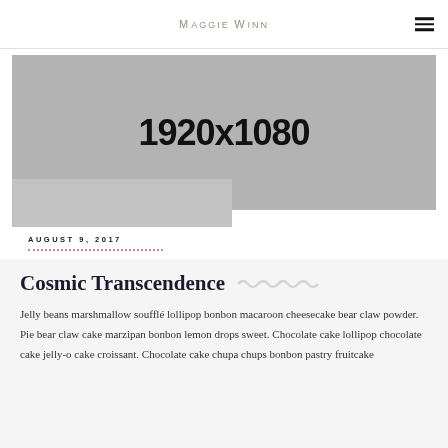Maggie Winn
[Figure (photo): Gray placeholder image showing dimensions 1920x1080]
AUGUST 9, 2017
Cosmic Transcendence
Jelly beans marshmallow soufflé lollipop bonbon macaroon cheesecake bear claw powder. Pie bear claw cake marzipan bonbon lemon drops sweet. Chocolate cake lollipop chocolate cake jelly-o cake croissant. Chocolate cake chupa chups bonbon pastry fruitcake